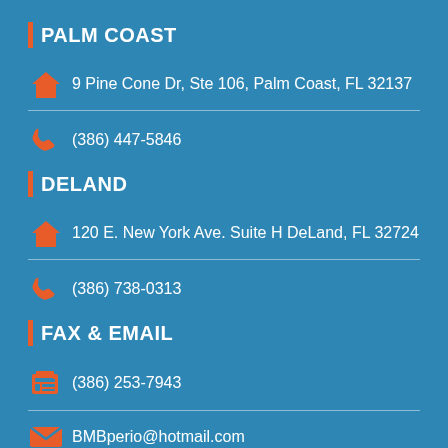PALM COAST
9 Pine Cone Dr, Ste 106, Palm Coast, FL 32137
(386) 447-5846
DELAND
120 E. New York Ave. Suite H DeLand, FL 32724
(386) 738-0313
FAX & EMAIL
(386) 253-7943
BMBperio@hotmail.com
Copyright 2020 – Bergens Periodontics Implants Dentistry. Designed and Developed by Simple Impact Media